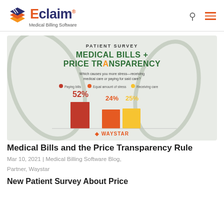[Figure (logo): EZClaim Medical Billing Software logo with orange/gold geometric box icon and dark blue text reading 'claim' with orange 'E' and registered mark, subtitle 'Medical Billing Software']
[Figure (infographic): Patient Survey infographic titled 'MEDICAL BILLS + PRICE TRANSPARENCY' by Waystar. Question: 'Which causes you more stress—receiving medical care or paying for said care?' Bar chart showing: Paying bills 52% (red), Equal amount of stress 24% (orange), Receiving care 25% (gold/yellow). Waystar logo at bottom.]
Medical Bills and the Price Transparency Rule
Mar 10, 2021 | Medical Billing Software Blog, Partner, Waystar
New Patient Survey About Price